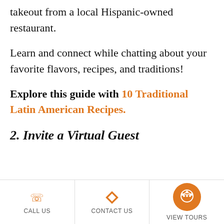takeout from a local Hispanic-owned restaurant.
Learn and connect while chatting about your favorite flavors, recipes, and traditions!
Explore this guide with 10 Traditional Latin American Recipes.
2. Invite a Virtual Guest
CALL US | CONTACT US | VIEW TOURS